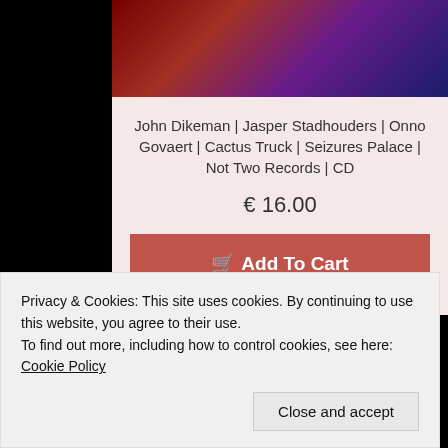[Figure (photo): Album art photo with dark red and purple tones]
John Dikeman | Jasper Stadhouders | Onno Govaert | Cactus Truck | Seizures Palace | Not Two Records | CD
€ 16.00
Add To Cart
M.ETROPOLIS IS PAYPAL VERIFIED!
[Figure (logo): Payment icons: CB, VISA, MasterCard, American Express, Discover, PayPal]
[Figure (photo): Black and white photograph at the bottom]
Privacy & Cookies: This site uses cookies. By continuing to use this website, you agree to their use.
To find out more, including how to control cookies, see here: Cookie Policy
Close and accept